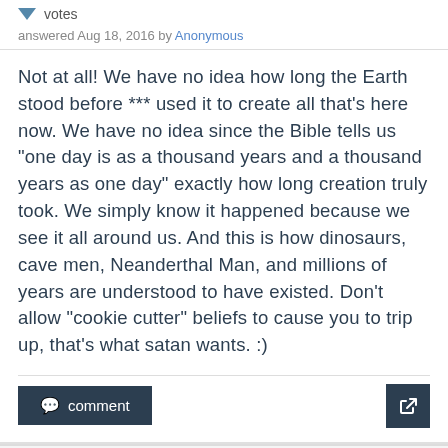votes
answered Aug 18, 2016 by Anonymous
Not at all! We have no idea how long the Earth stood before *** used it to create all that's here now. We have no idea since the Bible tells us "one day is as a thousand years and a thousand years as one day" exactly how long creation truly took. We simply know it happened because we see it all around us. And this is how dinosaurs, cave men, Neanderthal Man, and millions of years are understood to have existed. Don't allow "cookie cutter" beliefs to cause you to trip up, that's what satan wants. :)
comment
0